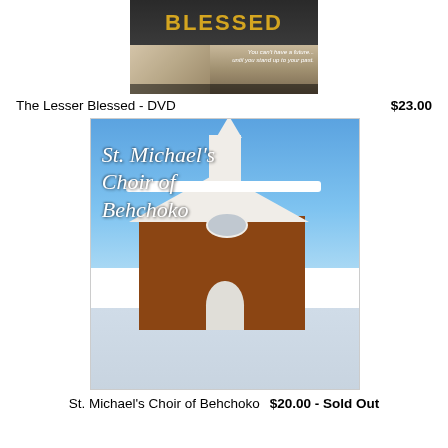[Figure (photo): Movie poster for 'The Lesser Blessed' DVD showing title text 'BLESSED' on dark background (top) and a young woman's face with movie tagline text (bottom)]
The Lesser Blessed - DVD    $23.00
[Figure (photo): Album cover photo for St. Michael's Choir of Behchoko showing a red brick church building with white steeple in winter with snow on the ground and blue sky. Cursive white text reads 'St. Michael's Choir of Behchoko']
St. Michael's Choir of Behchoko   $20.00 - Sold Out